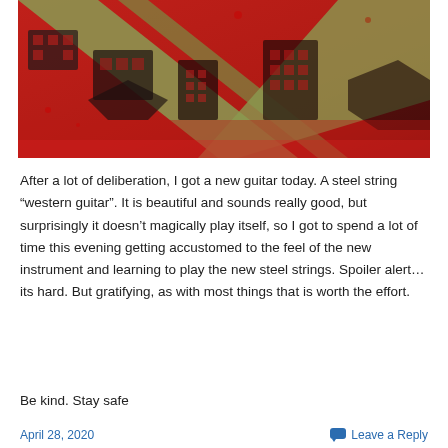[Figure (photo): Close-up photograph of a red and dark green/black woven textile or rug with geometric patterns and striped designs in red and olive/khaki tones.]
After a lot of deliberation, I got a new guitar today. A steel string “western guitar”. It is beautiful and sounds really good, but surprisingly it doesn’t magically play itself, so I got to spend a lot of time this evening getting accustomed to the feel of the new instrument and learning to play the new steel strings. Spoiler alert…its hard. But gratifying, as with most things that is worth the effort.
Be kind. Stay safe
April 28, 2020   Leave a Reply